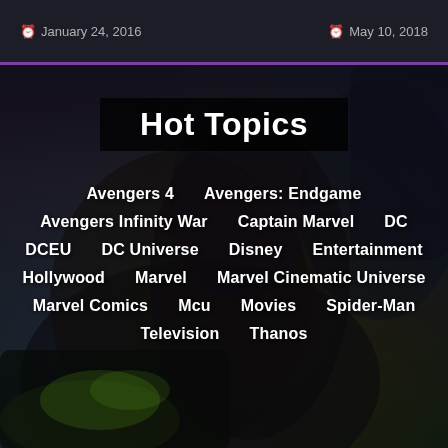January 24, 2016   May 10, 2018
Hot Topics
Avengers 4
Avengers: Endgame
Avengers Infinity War
Captain Marvel
DC
DCEU
DC Universe
Disney
Entertainment
Hollywood
Marvel
Marvel Cinematic Universe
Marvel Comics
Mcu
Movies
Spider-Man
Television
Thanos